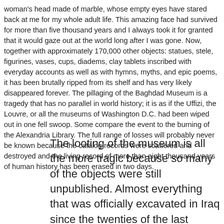woman's head made of marble, whose empty eyes have stared back at me for my whole adult life. This amazing face had survived for more than five thousand years and I always took it for granted that it would gaze out at the world long after I was gone. Now, together with approximately 170,000 other objects: statues, stele, figurines, vases, cups, diadems, clay tablets inscribed with everyday accounts as well as with hymns, myths, and epic poems, it has been brutally ripped from its shelf and has very likely disappeared forever. The pillaging of the Baghdad Museum is a tragedy that has no parallel in world history; it is as if the Uffizi, the Louvre, or all the museums of Washington D.C. had been wiped out in one fell swoop. Some compare the event to the burning of the Alexandria Library. The full range of losses will probably never be known because the catalog records were scattered and destroyed and the living record of more than eight thousand years of human history has been erased in two days.
The looting of the museum is all the more tragic because so many of the objects were still unpublished. Almost everything that was officially excavated in Iraq since the twenties of the last century was deposited there. In the years